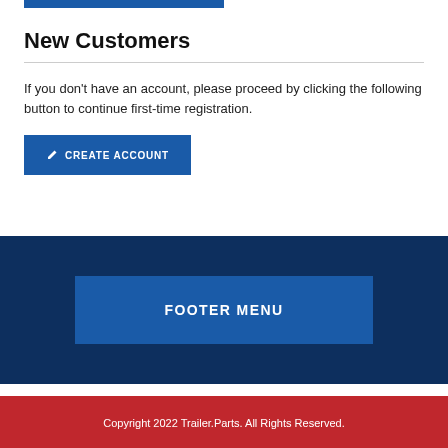New Customers
If you don't have an account, please proceed by clicking the following button to continue first-time registration.
CREATE ACCOUNT
FOOTER MENU
Copyright 2022 Trailer.Parts. All Rights Reserved.